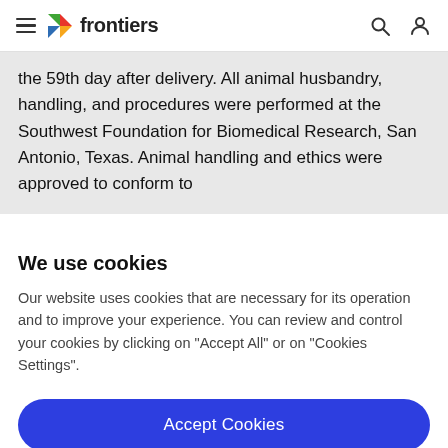frontiers
the 59th day after delivery. All animal husbandry, handling, and procedures were performed at the Southwest Foundation for Biomedical Research, San Antonio, Texas. Animal handling and ethics were approved to conform to
We use cookies
Our website uses cookies that are necessary for its operation and to improve your experience. You can review and control your cookies by clicking on "Accept All" or on "Cookies Settings".
Accept Cookies
Cookies Settings